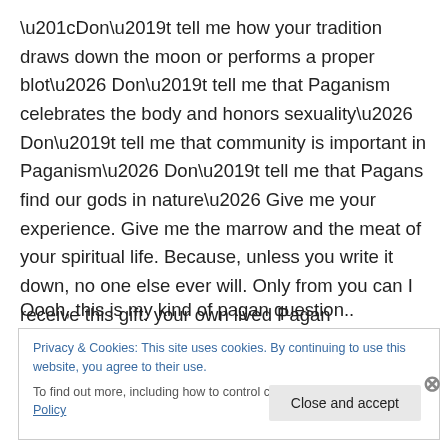“Don’t tell me how your tradition draws down the moon or performs a proper blot… Don’t tell me that Paganism celebrates the body and honors sexuality… Don’t tell me that community is important in Paganism… Don’t tell me that Pagans find our gods in nature… Give me your experience. Give me the marrow and the meat of your spiritual life. Because, unless you write it down, no one else ever will. Only from you can I receive this gift: your own lived Pagan journey.”
Oooh, this is my kind of pagan question..
Privacy & Cookies: This site uses cookies. By continuing to use this website, you agree to their use.
To find out more, including how to control cookies, see here: Cookie Policy